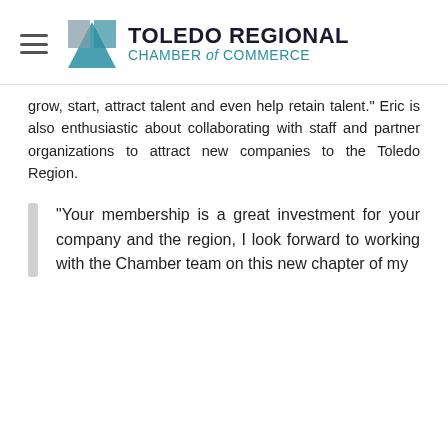Toledo Regional Chamber of Commerce
grow, start, attract talent and even help retain talent.” Eric is also enthusiastic about collaborating with staff and partner organizations to attract new companies to the Toledo Region.
“Your membership is a great investment for your company and the region, I look forward to working with the Chamber team on this new chapter of my